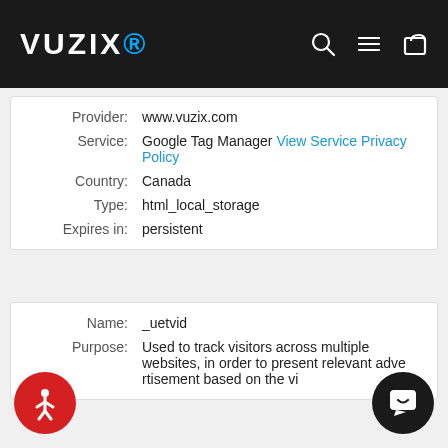VUZIX
| Label | Value |
| --- | --- |
| Provider: | www.vuzix.com |
| Service: | Google Tag Manager View Service Privacy Policy |
| Country: | Canada |
| Type: | html_local_storage |
| Expires in: | persistent |
| Label | Value |
| --- | --- |
| Name: | _uetvid |
| Purpose: | Used to track visitors across multiple websites, in order to present relevant advertisement based on the vi... |